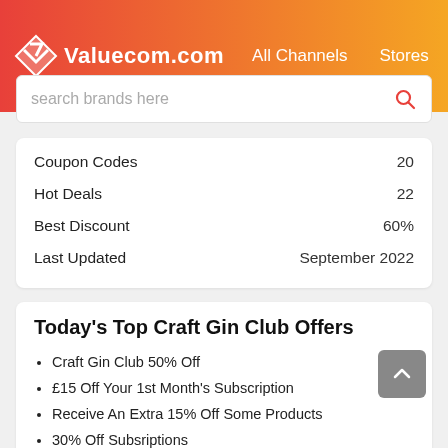Valuecom.com  All Channels  Stores
|  |  |
| --- | --- |
| Coupon Codes | 20 |
| Hot Deals | 22 |
| Best Discount | 60% |
| Last Updated | September 2022 |
Today's Top Craft Gin Club Offers
Craft Gin Club 50% Off
£15 Off Your 1st Month's Subscription
Receive An Extra 15% Off Some Products
30% Off Subsriptions
Receive 60% Off 1st Month On Subscriptions